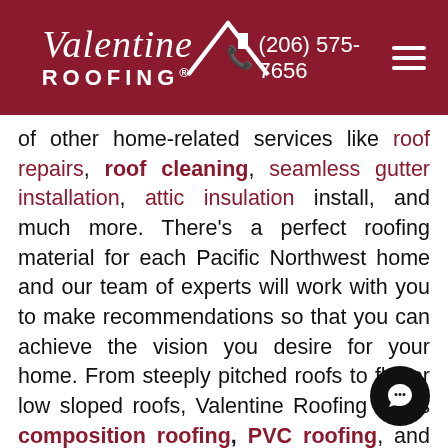Valentine Roofing — (206) 575-7656
of other home-related services like roof repairs, roof cleaning, seamless gutter installation, attic insulation install, and much more. There's a perfect roofing material for each Pacific Northwest home and our team of experts will work with you to make recommendations so that you can achieve the vision you desire for your home. From steeply pitched roofs to flat or low sloped roofs, Valentine Roofing offers composition roofing, PVC roofing, and metal roofing material options to fit any home's aesthetic. We proudly install the best shingles in the industry by our partner Owens Corning. The Duration series line offers excellent